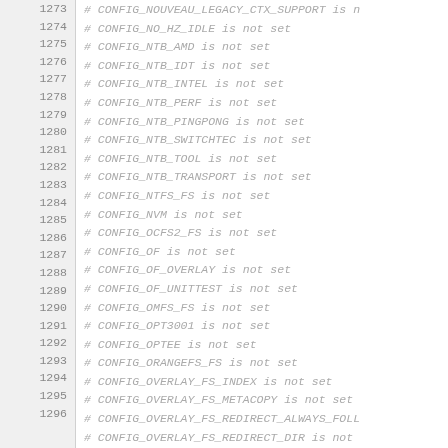1273  # CONFIG_NOUVEAU_LEGACY_CTX_SUPPORT is n
1274  # CONFIG_NO_HZ_IDLE is not set
1275  # CONFIG_NTB_AMD is not set
1276  # CONFIG_NTB_IDT is not set
1277  # CONFIG_NTB_INTEL is not set
1278  # CONFIG_NTB_PERF is not set
1279  # CONFIG_NTB_PINGPONG is not set
1280  # CONFIG_NTB_SWITCHTEC is not set
1281  # CONFIG_NTB_TOOL is not set
1282  # CONFIG_NTB_TRANSPORT is not set
1283  # CONFIG_NTFS_FS is not set
1284  # CONFIG_NVM is not set
1285  # CONFIG_OCFS2_FS is not set
1286  # CONFIG_OF is not set
1287  # CONFIG_OF_OVERLAY is not set
1288  # CONFIG_OF_UNITTEST is not set
1289  # CONFIG_OMFS_FS is not set
1290  # CONFIG_OPT3001 is not set
1291  # CONFIG_OPTEE is not set
1292  # CONFIG_ORANGEFS_FS is not set
1293  # CONFIG_OVERLAY_FS_INDEX is not set
1294  # CONFIG_OVERLAY_FS_METACOPY is not set
1295  # CONFIG_OVERLAY_FS_REDIRECT_ALWAYS_FOLL
1296  # CONFIG_OVERLAY_FS_REDIRECT_DIR is not